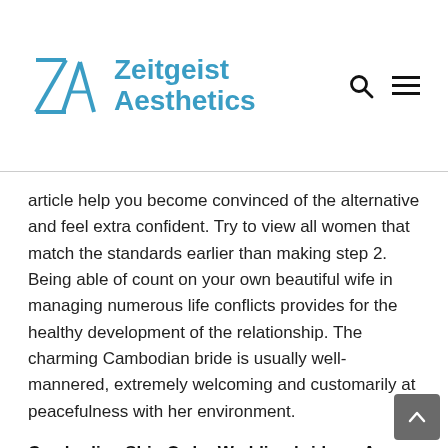Zeitgeist Aesthetics
article help you become convinced of the alternative and feel extra confident. Try to view all women that match the standards earlier than making step 2. Being able of count on your own beautiful wife in managing numerous life conflicts provides for the healthy development of the relationship. The charming Cambodian bride is usually well-mannered, extremely welcoming and customarily at peacefulness with her environment.
Cambodian Ship Order Wedding brides – A Womans Perspective
Pretty Cambodian chicks will be personable and socially self-confident. They are the ameno sort and luxuriate in going out and meeting fresh folks. Every one of the nationalities and